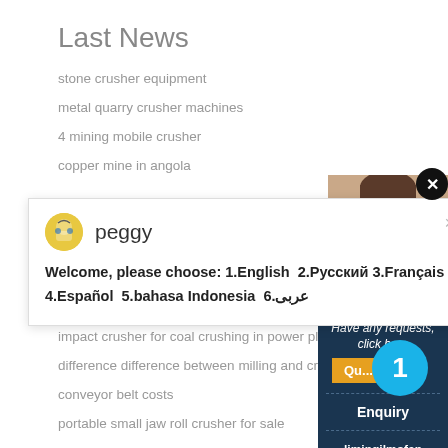Last News
stone crusher equipment
metal quarry crusher machines
4 mining mobile crusher
copper mine in angola
[Figure (photo): Chat popup with avatar of peggy, message: Welcome, please choose: 1.English  2.Русский 3.Français 4.Español  5.bahasa Indonesia  6.عربى, with close button]
impact crusher for coal crushing in power plants
difference difference between milling and crushing in ce...
conveyor belt costs
portable small jaw roll crusher for sale
mining contractors chatree
sri venkateswara pulverisers
cone crusher plant layout for sale in sudan
[Figure (screenshot): Side panel with dark blue background: Have any requests, click here. Quote button. Enquiry. limingjlmofen@sina.com. Blue circle badge with number 1.]